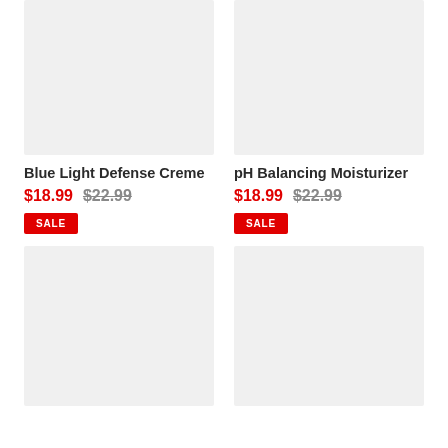[Figure (photo): Product image placeholder – light gray rectangle for Blue Light Defense Creme]
[Figure (photo): Product image placeholder – light gray rectangle for pH Balancing Moisturizer]
Blue Light Defense Creme
$18.99  $22.99  SALE
pH Balancing Moisturizer
$18.99  $22.99  SALE
[Figure (photo): Product image placeholder – light gray rectangle (bottom left)]
[Figure (photo): Product image placeholder – light gray rectangle (bottom right)]